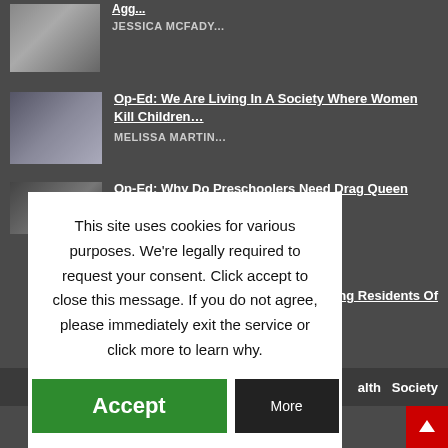JESSICA MCFADY...
Op-Ed: We Are Living In A Society Where Women Kill Children...
MELISSA MARTIN...
Op-Ed: Why Do Preschoolers Need Drag Queen Stor...
...sing Residents Of
This site uses cookies for various purposes. We're legally required to request your consent. Click accept to close this message. If you do not agree, please immediately exit the service or click more to learn why.
Accept
More
alth   Society